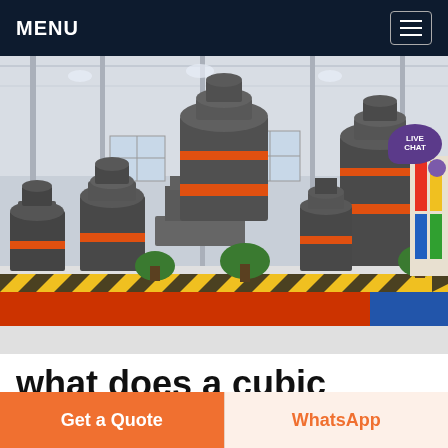MENU
[Figure (photo): Industrial factory interior showing multiple large cone crusher machines arranged on a colorful floor (yellow/black safety striped border, red and blue floor sections), inside a large warehouse with high ceilings and natural lighting through skylights. Potted plants are placed between the machines.]
what does a cubic metre of crusher dust weigh
Get a Quote
WhatsApp